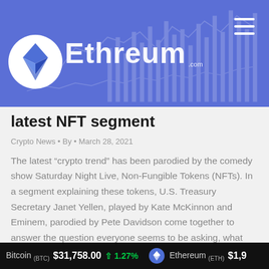Ethreum.com
latest NFT segment
Crypto News • By • March 28, 2021
The latest “crypto trend” has been parodied by the comedy show Saturday Night Live, Non-Fungible Tokens (NFTs). In a segment explaining these tokens, U.S. Treasury Secretary Janet Yellen, played by Kate McKinnon and Eminem, parodied by Pete Davidson come together to answer the question everyone seems to be asking, what are NFTs? With a running…
Details
Bitcoin (BTC) $31,758.00 ↑ 1.27% Ethereum (ETH) $1,9